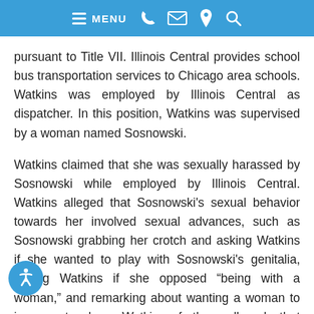MENU
pursuant to Title VII. Illinois Central provides school bus transportation services to Chicago area schools. Watkins was employed by Illinois Central as dispatcher. In this position, Watkins was supervised by a woman named Sosnowski.
Watkins claimed that she was sexually harassed by Sosnowski while employed by Illinois Central. Watkins alleged that Sosnowski’s sexual behavior towards her involved sexual advances, such as Sosnowski grabbing her crotch and asking Watkins if she wanted to play with Sosnowski’s genitalia, asking Watkins if she opposed “being with a woman,” and remarking about wanting a woman to impregnate her. Watkins further alleged that Sosnowski’s sexual behavior towards her involved physical touching, such as touching her nipple, grabbing her breasts, rubbing up against her breasts, and laying her breasts on